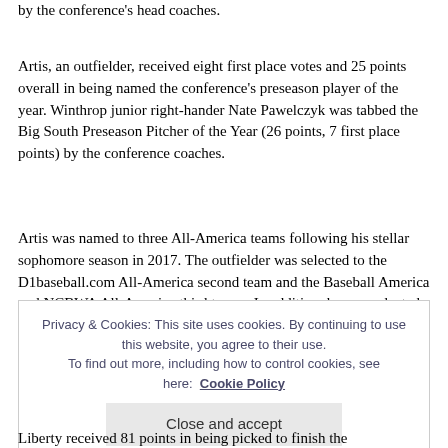by the conference's head coaches.
Artis, an outfielder, received eight first place votes and 25 points overall in being named the conference's preseason player of the year. Winthrop junior right-hander Nate Pawelczyk was tabbed the Big South Preseason Pitcher of the Year (26 points, 7 first place points) by the conference coaches.
Artis was named to three All-America teams following his stellar sophomore season in 2017. The outfielder was selected to the D1baseball.com All-America second team and the Baseball America and NCBWA All-America third teams. In addition, he was selected as the 2017 Big South Player of the Year.
The outfielder, who also earned all-conference first team
Privacy & Cookies: This site uses cookies. By continuing to use this website, you agree to their use. To find out more, including how to control cookies, see here: Cookie Policy
Liberty received 81 points in being picked to finish the